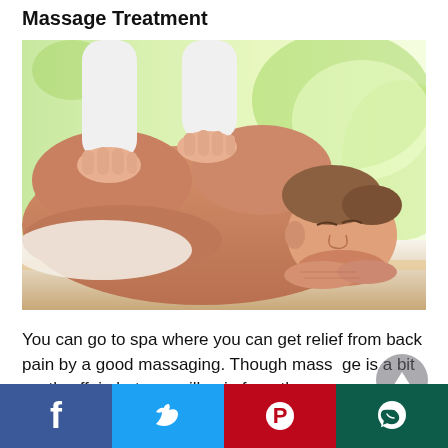Massage Treatment
[Figure (photo): A man lying face down on a massage table with eyes closed and smiling, receiving a back massage from a therapist in a white coat. Bright green/white background suggesting a spa setting.]
You can go to spa where you can get relief from back pain by a good massaging. Though massage is a bit costly affair, but you will gain from the
[Figure (infographic): Social media sharing bar with four buttons: Facebook (blue), Twitter (light blue), Pinterest (red), WhatsApp (dark teal)]